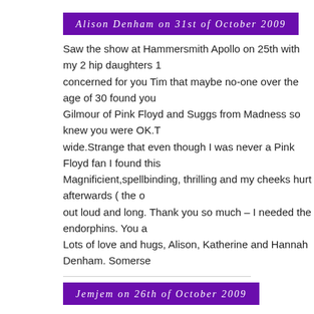Alison Denham on 31st of October 2009
Saw the show at Hammersmith Apollo on 25th with my 2 hip daughters 1 concerned for you Tim that maybe no-one over the age of 30 found you Gilmour of Pink Floyd and Suggs from Madness so knew you were OK.T wide.Strange that even though I was never a Pink Floyd fan I found this Magnificient,spellbinding, thrilling and my cheeks hurt afterwards ( the o out loud and long. Thank you so much – I needed the endorphins. You a Lots of love and hugs, Alison, Katherine and Hannah Denham. Somerse
Jemjem on 26th of October 2009
YOU'RE AMAZING!!! My only priority this week is to come see one of yo
Stella Branch on 23rd of October 2009
Have just had a fab-u-lous evening in your company at Hammersmith. Y look, and I loved every single piano key that you hit. Please keep on doi
Peter Laws on 18th of October 2009